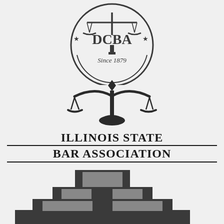[Figure (logo): DCBA circular seal logo with scales of justice and text 'Since 1879']
[Figure (logo): Illinois State Bar Association scales of justice logo]
ILLINOIS STATE BAR ASSOCIATION
[Figure (illustration): Stepped pyramid/courthouse building illustration in grayscale]